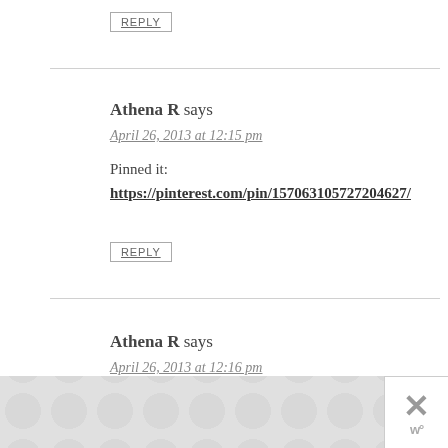REPLY
Athena R says
April 26, 2013 at 12:15 pm
Pinned it:
https://pinterest.com/pin/157063105727204627/
REPLY
Athena R says
April 26, 2013 at 12:16 pm
[Figure (screenshot): Advertisement banner with polka dot pattern and close button with X and 'w' logo]